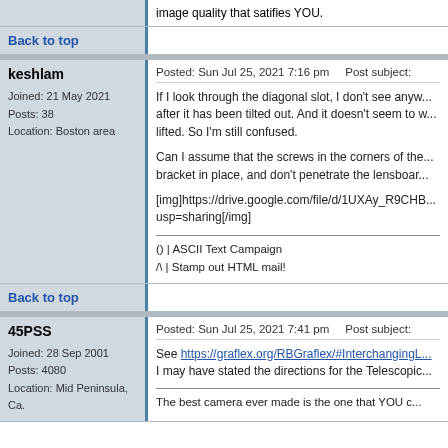image quality that satifies YOU.
Back to top
keshlam
Joined: 21 May 2021
Posts: 38
Location: Boston area
Posted: Sun Jul 25, 2021 7:16 pm    Post subject:
If I look through the diagonal slot, I don't see anyw... after it has been tilted out. And it doesn't seem to w... lifted. So I'm still confused.

Can I assume that the screws in the corners of the... bracket in place, and don't penetrate the lensboar...

[img]https://drive.google.com/file/d/1UXAy_R9CHB... usp=sharing[/img]
() | ASCII Text Campaign
/\ | Stamp out HTML mail!
Back to top
45PSS
Joined: 28 Sep 2001
Posts: 4080
Location: Mid Peninsula, Ca.
Posted: Sun Jul 25, 2021 7:41 pm    Post subject:
See https://graflex.org/RBGraflex/#InterchangingL...
I may have stated the directions for the Telescopic...
The best camera ever made is the one that YOU c...